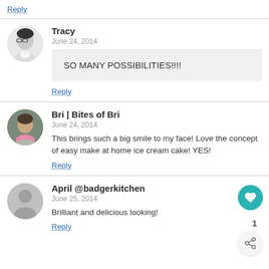Reply
Tracy
June 24, 2014
SO MANY POSSIBILITIES!!!!
Reply
Bri | Bites of Bri
June 24, 2014
This brings such a big smile to my face! Love the concept of easy make at home ice cream cake! YES!
Reply
April @badgerkitchen
June 25, 2014
Brilliant and delicious looking!
Reply